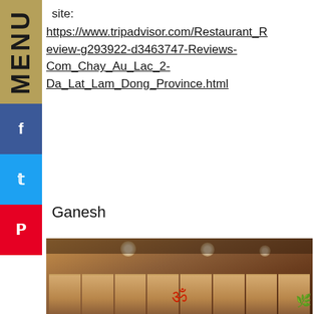MENU
site:
https://www.tripadvisor.com/Restaurant_Review-g293922-d3463747-Reviews-Com_Chay_Au_Lac_2-Da_Lat_Lam_Dong_Province.html
Ganesh
[Figure (photo): Interior photo of a restaurant with warm ceiling lights, wooden panel walls, an Om symbol on the wall, and foliage decoration.]